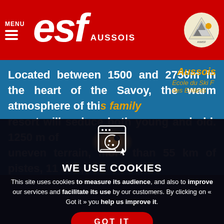MENU | ESF AUSSOIS
Located between 1500 and 2750m in the heart of the Savoy, the warm atmosphere of this family resort will seduce both young and old. 1250 m of uneven terrain, more than 55 km of pistes, 11 lifts, this resort offers disciplines that will suit all levels
WE USE COOKIES
This site uses cookies to measure its audience, and also to improve our services and facilitate its use by our customers. By clicking on « Got it » you help us improve it.
GOT IT
Learn more